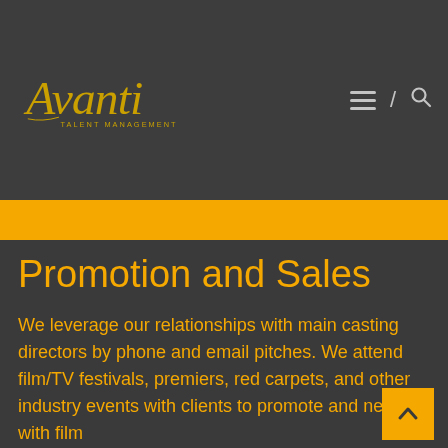[Figure (logo): Avanti talent management logo in gold cursive script on dark background]
Promotion and Sales
We leverage our relationships with main casting directors by phone and email pitches. We attend film/TV festivals, premiers, red carpets, and other industry events with clients to promote and network with film